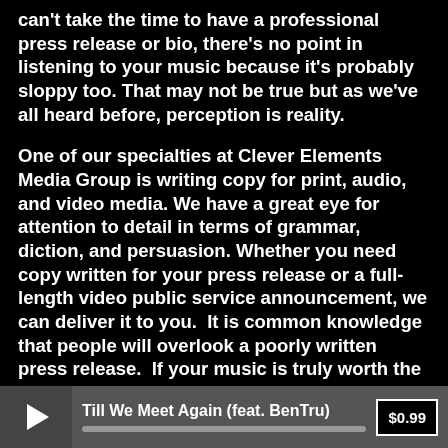can't take the time to have a professional press release or bio, there's no point in listening to your music because it's probably sloppy too. That may not be true but as we've all heard before, perception is reality.
One of our specialties at Clever Elements Media Group is writing copy for print, audio, and video media. We have a great eye for attention to detail in terms of grammar, diction, and persuasion. Whether you need copy written for your press release or a full-length video public service announcement, we can deliver it to you. It is common knowledge that people will overlook a poorly written press release. If your music is truly worth the money people will spend to buy it, it is also worth investing in a press release or bio that will be professional, informative, and persuasive. We cover a diverse spectrum as our team includes both a writer with a doctoral degree who specializes in writing as well as a former motivational speaker. This is in addition to our music producers/writers and voice performers. We love music of
Till We Meet Again (feat. BenTru) $0.99